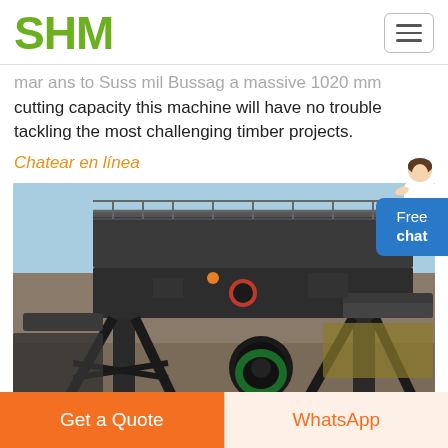SHM
cutting capacity this machine will have no trouble tackling the most challenging timber projects.
Chatear en línea
[Figure (photo): Large industrial portable sawmill / crushing machine on an outdoor construction or mining site. Heavy steel structure with conveyor belts and machinery.]
Portable Sawmills for Sale
Get a Quote
WhatsApp